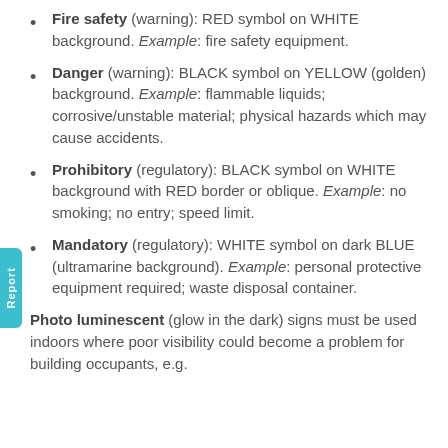Fire safety (warning): RED symbol on WHITE background. Example: fire safety equipment.
Danger (warning): BLACK symbol on YELLOW (golden) background. Example: flammable liquids; corrosive/unstable material; physical hazards which may cause accidents.
Prohibitory (regulatory): BLACK symbol on WHITE background with RED border or oblique. Example: no smoking; no entry; speed limit.
Mandatory (regulatory): WHITE symbol on dark BLUE (ultramarine background). Example: personal protective equipment required; waste disposal container.
Photo luminescent (glow in the dark) signs must be used indoors where poor visibility could become a problem for building occupants, e.g.